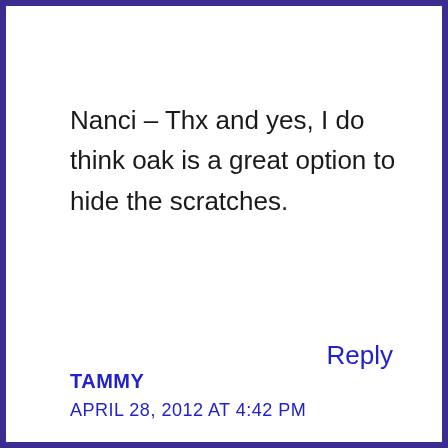Nanci – Thx and yes, I do think oak is a great option to hide the scratches.
Reply
TAMMY
APRIL 28, 2012 AT 4:42 PM